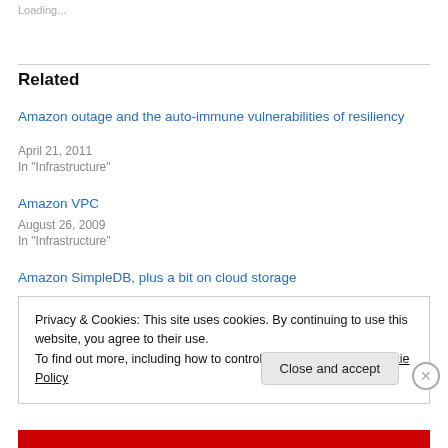Loading...
Related
Amazon outage and the auto-immune vulnerabilities of resiliency
April 21, 2011
In "Infrastructure"
Amazon VPC
August 26, 2009
In "Infrastructure"
Amazon SimpleDB, plus a bit on cloud storage
Privacy & Cookies: This site uses cookies. By continuing to use this website, you agree to their use.
To find out more, including how to control cookies, see here: Cookie Policy
Close and accept